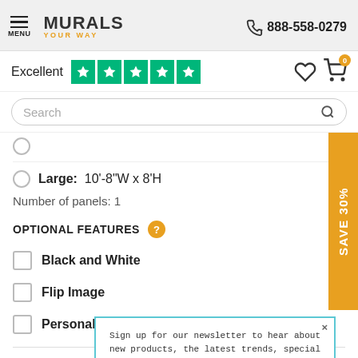MENU | MURALS YOUR WAY | 888-558-0279
Excellent ★★★★★
Search
Large: 10'-8"W x 8'H
Number of panels: 1
OPTIONAL FEATURES
Black and White
Flip Image
Personalize
SAVE 30%
2. Choose
Sign up for our newsletter to hear about new products, the latest trends, special promotions and receive 30% off your order.
Sign Up
No thanks